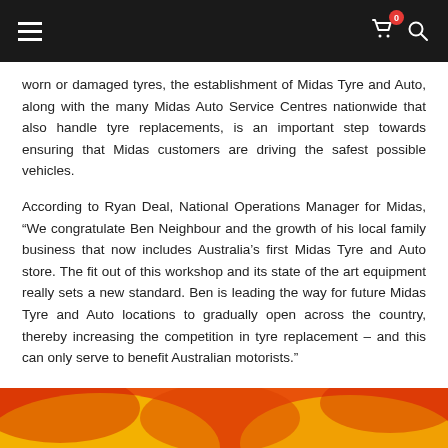Navigation bar with hamburger menu, cart icon with 0 badge, and search icon
worn or damaged tyres, the establishment of Midas Tyre and Auto, along with the many Midas Auto Service Centres nationwide that also handle tyre replacements, is an important step towards ensuring that Midas customers are driving the safest possible vehicles.
According to Ryan Deal, National Operations Manager for Midas, “We congratulate Ben Neighbour and the growth of his local family business that now includes Australia’s first Midas Tyre and Auto store. The fit out of this workshop and its state of the art equipment really sets a new standard. Ben is leading the way for future Midas Tyre and Auto locations to gradually open across the country, thereby increasing the competition in tyre replacement – and this can only serve to benefit Australian motorists.”
[Figure (photo): Bottom portion of a Midas branded image showing red and yellow brand colors]